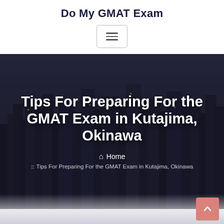Do My GMAT Exam
[Figure (screenshot): Hamburger menu button icon with three horizontal lines inside a bordered rounded rectangle]
[Figure (photo): Aerial view of a dense urban cityscape at dusk with dark overlay serving as hero banner background]
Tips For Preparing For the GMAT Exam in Kutajima, Okinawa
Home
:: Tips For Preparing For the GMAT Exam in Kutajima, Okinawa